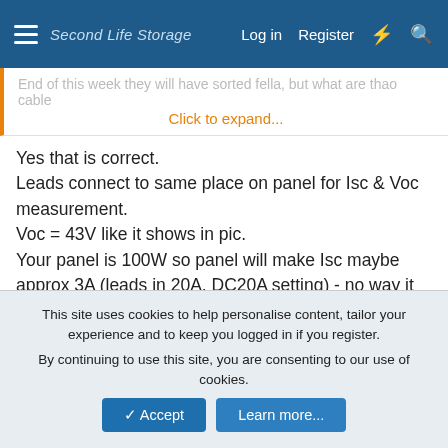Second Life Storage   Log in   Register
End of this week they will have sorted fella, but what are thao cable   Click to expand...
Yes that is correct.
Leads connect to same place on panel for Isc & Voc measurement.
Voc = 43V like it shows in pic.
Your panel is 100W so panel will make Isc maybe approx 3A (leads in 20A, DC20A setting) - no way it will make more than 20A. Even a new 400W panel only makes about 11-12A @36V.
Panel must be in full sun, no shade even on edges. Must be 90 deg to sun, not angled much.
Suggest wiping panel clean too, those spots might take 10-20% off power.
Re cracked panel, it's no good, throw in rubbish. Air & moisture
This site uses cookies to help personalise content, tailor your experience and to keep you logged in if you register.
By continuing to use this site, you are consenting to our use of cookies.